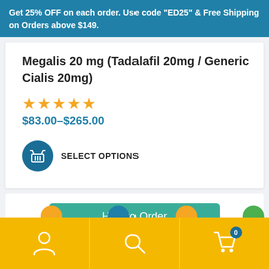Get 25% OFF on each order. Use code “ED25” & Free Shipping on Orders above $149.
Megalis 20 mg (Tadalafil 20mg / Generic Cialis 20mg)
★★★★★
$83.00–$265.00
SELECT OPTIONS
How to Order